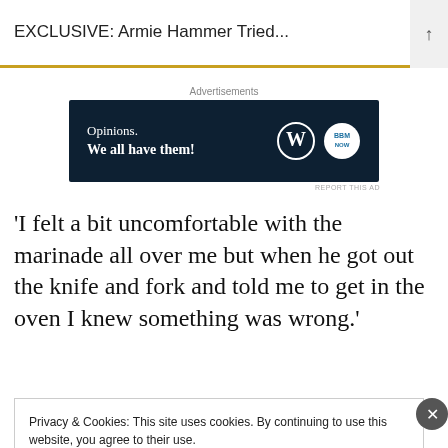EXCLUSIVE: Armie Hammer Tried...
[Figure (screenshot): Advertisement banner with dark navy background. Text reads 'Opinions. We all have them!' with WordPress and Blog Now logos on the right.]
'I felt a bit uncomfortable with the marinade all over me but when he got out the knife and fork and told me to get in the oven I knew something was wrong.'
Privacy & Cookies: This site uses cookies. By continuing to use this website, you agree to their use.
To find out more, including how to control cookies, see here: Cookie Policy